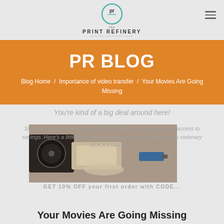[Figure (logo): The Print Refinery logo — circular teal badge with 'pr' monogram, with 'the PRINT REFINERY' text below]
PR BLOG
Blog Home / Importance of video transfer / Your Movies Are Going Missing
You're kind of a big deal around here!
Sign up to secure your spot as a VIP insider and get exclusive access to savings. Here's a little gift to get your creative juices flowing, you visionary ROCKSTAR, you.
[Figure (photo): Photo of vintage film reels, cassette tapes, and a USB drive on a wooden surface]
Your Movies Are Going Missing
January 7, 2019 / by Natalie Gunn